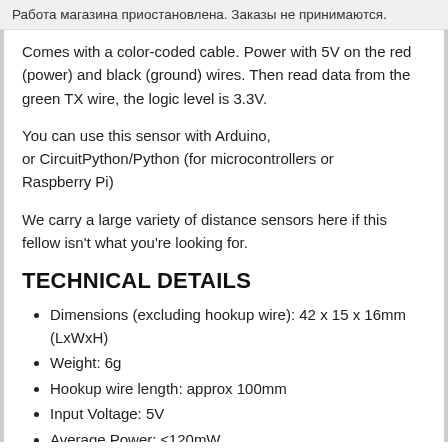Работа магазина приостановлена. Заказы не принимаются.
Comes with a color-coded cable. Power with 5V on the red (power) and black (ground) wires. Then read data from the green TX wire, the logic level is 3.3V.
You can use this sensor with Arduino, or CircuitPython/Python (for microcontrollers or Raspberry Pi)
We carry a large variety of distance sensors here if this fellow isn't what you're looking for.
TECHNICAL DETAILS
Dimensions (excluding hookup wire): 42 x 15 x 16mm (LxWxH)
Weight: 6g
Hookup wire length: approx 100mm
Input Voltage: 5V
Average Power: ≤120mW
LED Peak Current: 800mA